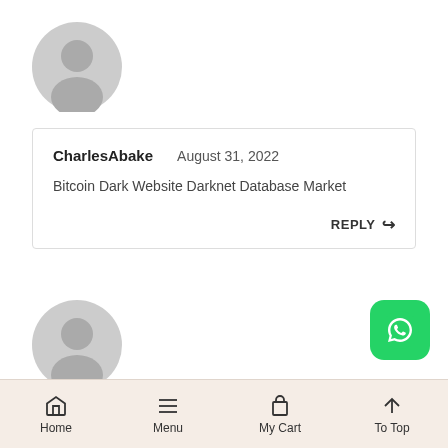[Figure (illustration): Gray default user avatar circle icon, top left area]
CharlesAbake   August 31, 2022
Bitcoin Dark Website Darknet Database Market
REPLY ↩
[Figure (illustration): Gray default user avatar circle icon, bottom left area]
[Figure (logo): WhatsApp green rounded square logo button, bottom right]
Home   Menu   My Cart   To Top